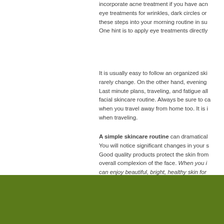incorporate acne treatment if you have acne, eye treatments for wrinkles, dark circles or these steps into your morning routine in su... One hint is to apply eye treatments directly
It is usually easy to follow an organized ski... rarely change. On the other hand, evening Last minute plans, traveling, and fatigue all facial skincare routine. Always be sure to ca... when you travel away from home too. It is i... when traveling.
A simple skincare routine can dramatical... You will notice significant changes in your s... Good quality products protect the skin from overall complexion of the face. When you i... can enjoy beautiful, bright, healthy skin for
[Figure (other): Solid olive/dark green rectangular footer band at the bottom of the page]